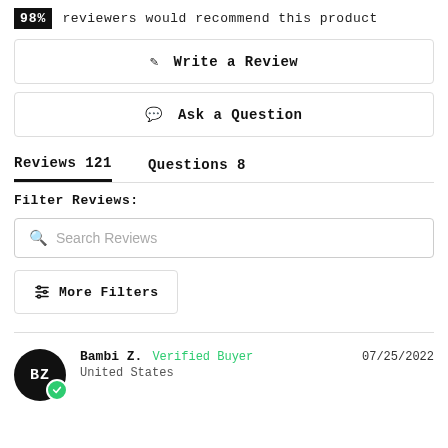98% reviewers would recommend this product
✏ Write a Review
💬 Ask a Question
Reviews 121    Questions 8
Filter Reviews:
Search Reviews
More Filters
Bambi Z.  Verified Buyer  07/25/2022  United States